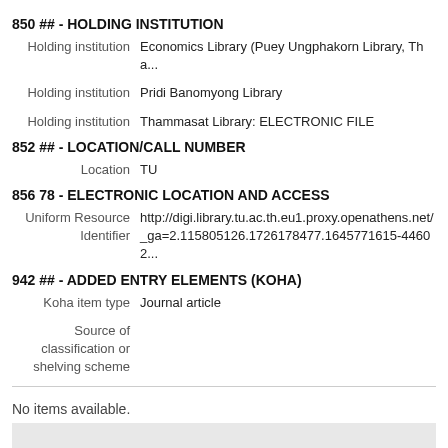850 ## - HOLDING INSTITUTION
Holding institution: Economics Library (Puey Ungphakorn Library, Tha...
Holding institution: Pridi Banomyong Library
Holding institution: Thammasat Library: ELECTRONIC FILE
852 ## - LOCATION/CALL NUMBER
Location: TU
856 78 - ELECTRONIC LOCATION AND ACCESS
Uniform Resource Identifier: http://digi.library.tu.ac.th.eu1.proxy.openathens.net/_ga=2.115805126.1726178477.1645771615-44602...
942 ## - ADDED ENTRY ELEMENTS (KOHA)
Koha item type: Journal article
Source of classification or shelving scheme:
No items available.